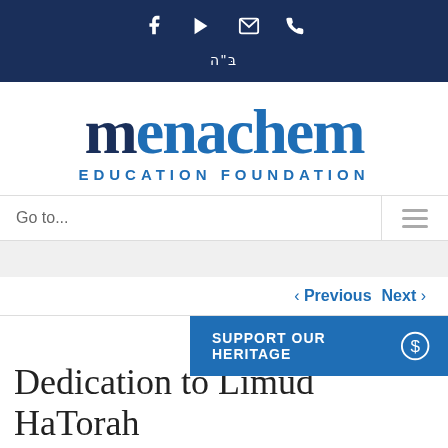Social icons: Facebook, YouTube, Email, Phone | בּ"ה
[Figure (logo): Menachem Education Foundation logo with stylized Hebrew letter Mem followed by 'enachem' in blue, and 'EDUCATION FOUNDATION' subtitle]
Go to...
‹ Previous   Next ›
SUPPORT OUR HERITAGE
Dedication to Limud HaTorah at Every St...